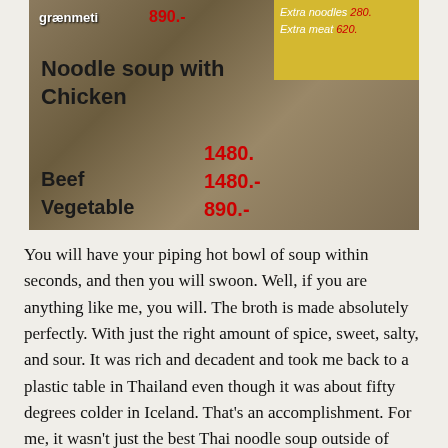[Figure (photo): A handwritten menu on cardboard/burlap showing noodle soup prices: Noodle soup with Chicken 1480, Beef 1480, Vegetable 890. Extra noodles 280, Extra meat 620. White text at top reads 'grænmeti 890'. Yellow panel on right lists extras in red.]
You will have your piping hot bowl of soup within seconds, and then you will swoon. Well, if you are anything like me, you will. The broth is made absolutely perfectly. With just the right amount of spice, sweet, salty, and sour. It was rich and decadent and took me back to a plastic table in Thailand even though it was about fifty degrees colder in Iceland. That's an accomplishment. For me, it wasn't just the best Thai noodle soup outside of Thailand, it was one